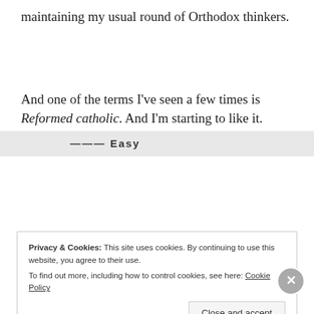maintaining my usual round of Orthodox thinkers.
And one of the terms I've seen a few times is Reformed catholic. And I'm starting to like it.
1 Comment
Privacy & Cookies: This site uses cookies. By continuing to use this website, you agree to their use. To find out more, including how to control cookies, see here: Cookie Policy
Close and accept